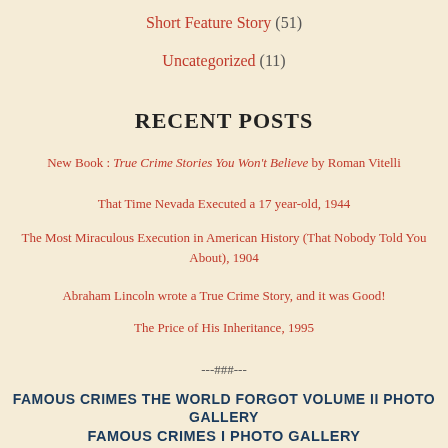Short Feature Story (51)
Uncategorized (11)
RECENT POSTS
New Book : True Crime Stories You Won't Believe by Roman Vitelli
That Time Nevada Executed a 17 year-old, 1944
The Most Miraculous Execution in American History (That Nobody Told You About), 1904
Abraham Lincoln wrote a True Crime Story, and it was Good!
The Price of His Inheritance, 1995
---###---
FAMOUS CRIMES THE WORLD FORGOT VOLUME II PHOTO GALLERY
FAMOUS CRIMES I PHOTO GALLERY